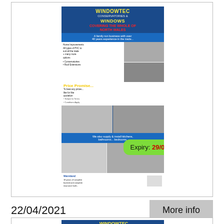[Figure (advertisement): Windowtec conservatories and windows advertisement showing company name, product photos, price promise text, contact numbers (0800 01428..., 01248 717...), with a green pill-shaped overlay showing 'Expiry: 29/04/2021']
22/04/2021
More info
[Figure (advertisement): Partial view of second Windowtec conservatories and windows advertisement (same design, cut off at bottom of page)]